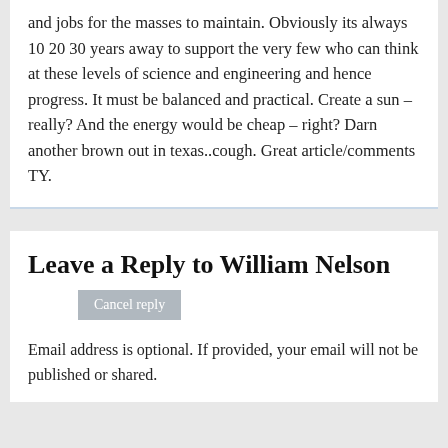and jobs for the masses to maintain. Obviously its always 10 20 30 years away to support the very few who can think at these levels of science and engineering and hence progress. It must be balanced and practical. Create a sun – really? And the energy would be cheap – right? Darn another brown out in texas..cough. Great article/comments TY.
Leave a Reply to William Nelson
Cancel reply
Email address is optional. If provided, your email will not be published or shared.